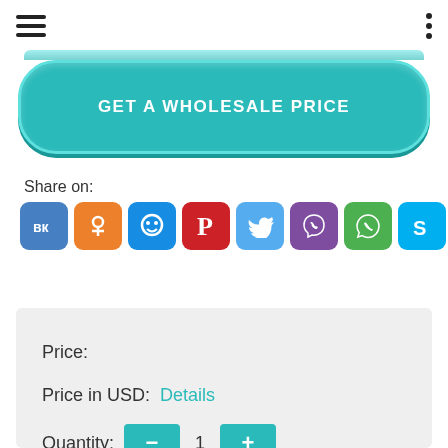[Figure (screenshot): Mobile app navigation bar with hamburger menu icon on left and three-dot menu on right]
[Figure (screenshot): Teal rounded button labeled GET A WHOLESALE PRICE]
Share on:
[Figure (infographic): Row of social media sharing icons: VK, OK, MyMail, Pinterest, Twitter, Viber, WhatsApp, Skype, Telegram]
Price:
Price in USD:  Details
Quantity:  -  1  +